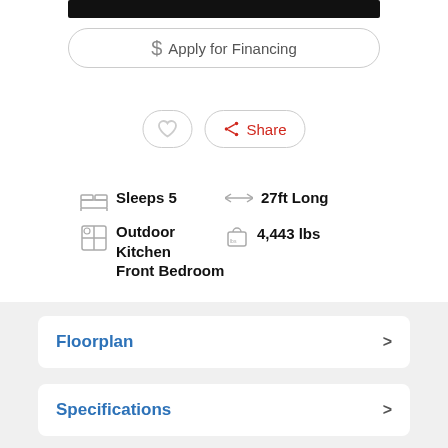[Figure (other): Black bar image cropped at top]
$ Apply for Financing
[Figure (other): Heart icon button and Share button]
Sleeps 5
27ft Long
Outdoor Kitchen
Front Bedroom
4,443 lbs
Floorplan
Specifications